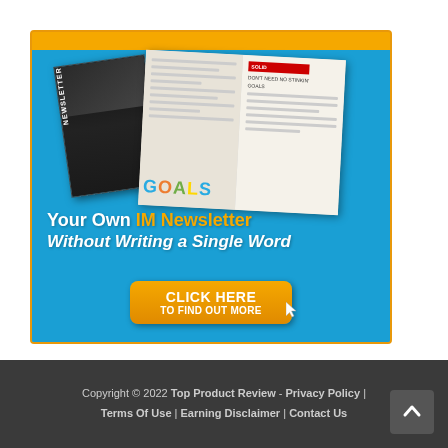[Figure (illustration): Advertisement banner for IM Newsletter service. Blue background with gold top bar. Shows newsletter covers/magazines. Text: 'Your Own IM Newsletter Without Writing a Single Word'. Orange button: 'CLICK HERE TO FIND OUT MORE']
Copyright © 2022 Top Product Review - Privacy Policy | Terms Of Use | Earning Disclaimer | Contact Us